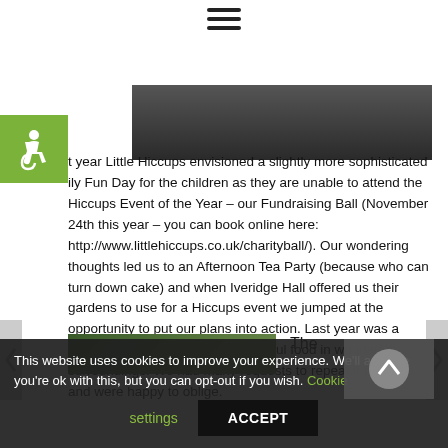[Figure (other): Hamburger menu icon (three horizontal lines) centered at top of page]
[Figure (photo): Partial photo strip showing people in dark clothing, cropped at top]
[Figure (other): Green accessibility wheelchair icon box on left side]
t year Little Hiccups envisioned a slightly more sophisticated ily Fun Day for the children as they are unable to attend the Hiccups Event of the Year – our Fundraising Ball (November 24th this year – you can book online here: http://www.littlehiccups.co.uk/charityball/). Our wondering thoughts led us to an Afternoon Tea Party (because who can turn down cake) and when Iveridge Hall offered us their gardens to use for a Hiccups event we jumped at the opportunity to put our plans into action. Last year was a huge success and we had wonderful food in wonderful surroundings. We had many requests to repeat it this year and were happy to oblige.
[Figure (photo): Partial garden/outdoor photo at bottom left, showing greenery]
The
This website uses cookies to improve your experience. We'll assume you're ok with this, but you can opt-out if you wish. Cookie settings ACCEPT